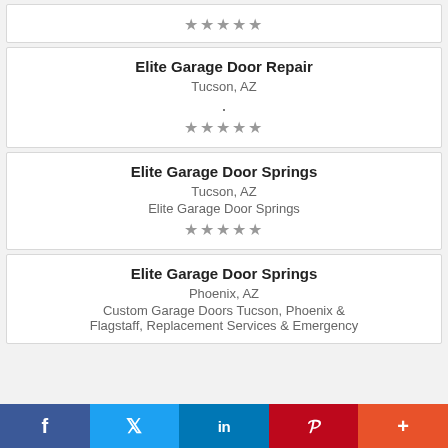[Figure (other): Partial listing card showing 5 gray stars rating (top of card cropped)]
Elite Garage Door Repair
Tucson, AZ
.
[Figure (other): 5 gray stars rating]
Elite Garage Door Springs
Tucson, AZ
Elite Garage Door Springs
[Figure (other): 5 gray stars rating]
Elite Garage Door Springs
Phoenix, AZ
Custom Garage Doors Tucson, Phoenix & Flagstaff, Replacement Services & Emergency
f  Twitter  in  P  +